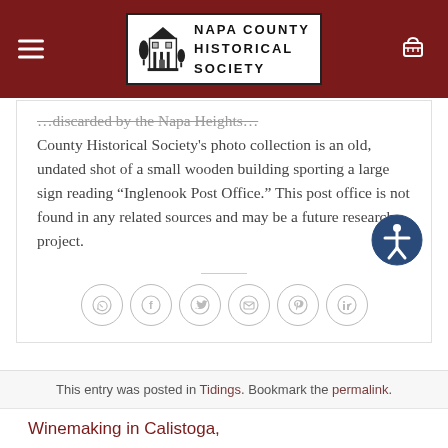[Figure (logo): Napa County Historical Society logo with building illustration and text]
County Historical Society's photo collection is an old, undated shot of a small wooden building sporting a large sign reading “Inglenook Post Office.” This post office is not found in any related sources and may be a future research project.
[Figure (other): Social sharing icons: WhatsApp, Facebook, Twitter, Email, Pinterest, LinkedIn]
This entry was posted in Tidings. Bookmark the permalink.
Winemaking in Calistoga,